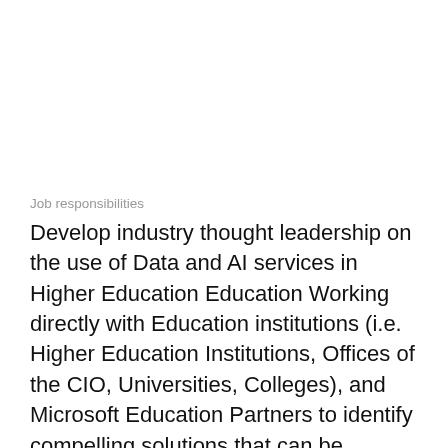Job responsibilities
Develop industry thought leadership on the use of Data and AI services in Higher Education Education Working directly with Education institutions (i.e. Higher Education Institutions, Offices of the CIO, Universities, Colleges), and Microsoft Education Partners to identify compelling solutions that can be replicated and brought to market with Higher Education institutions Crafting and deliver Executive Briefings and C-Suite keynote presentations on Data and AI for Digital Transformation in Higher Education Developing key sales play, technical and sales guidance for use by a global sales team